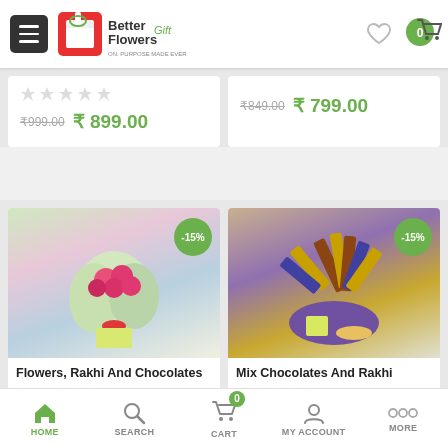[Figure (screenshot): Better Flowers Gift app header with hamburger menu, logo, heart icon, and cart icon showing 0 items]
[Figure (screenshot): Partial product card showing star rating and price ₹849.00 old, ₹799.00 new]
[Figure (screenshot): Partial product card showing star rating and price ₹999.00 old, ₹899.00 new]
[Figure (photo): Flowers, Rakhi And Chocolates product image with -15% discount badge]
Flowers, Rakhi And Chocolates
[Figure (photo): Mix Chocolates And Rakhi product image with -15% discount badge]
Mix Chocolates And Rakhi
[Figure (screenshot): Bottom navigation bar with HOME (active), SEARCH, CART (0), MY ACCOUNT, MORE]